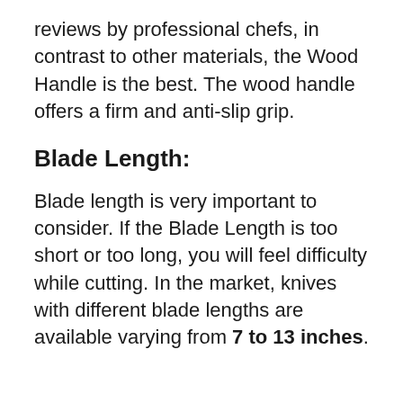reviews by professional chefs, in contrast to other materials, the Wood Handle is the best. The wood handle offers a firm and anti-slip grip.
Blade Length:
Blade length is very important to consider. If the Blade Length is too short or too long, you will feel difficulty while cutting. In the market, knives with different blade lengths are available varying from 7 to 13 inches.